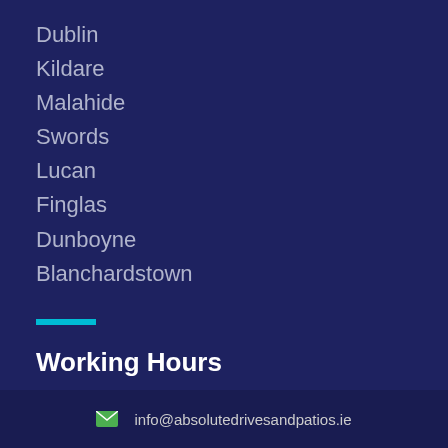Dublin
Kildare
Malahide
Swords
Lucan
Finglas
Dunboyne
Blanchardstown
Working Hours
Mon - Sat: 9.00 to 18.00
Sunday: CLOSED
info@absolutedrivesandpatios.ie